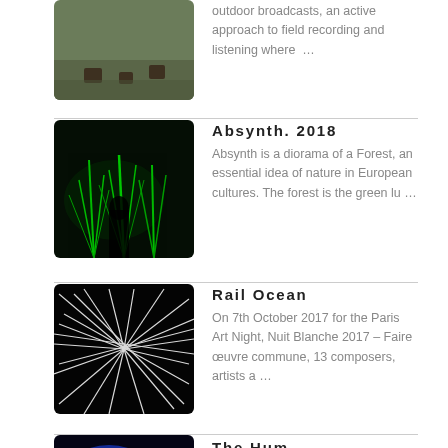[Figure (photo): Outdoor scene with tree stumps on a forest floor]
outdoor broadcasts, an active approach to field recording and listening where …
[Figure (photo): Dark forest scene with green glowing light illuminating trees and a silhouetted figure]
Absynth. 2018
Absynth is a diorama of a Forest, an essential idea of nature in European cultures. The forest is the green lu …
[Figure (photo): Abstract white light trails on black background, resembling rail lines]
Rail Ocean
On 7th October 2017 for the Paris Art Night, Nuit Blanche 2017 – Faire œuvre commune, 13 composers, artists a …
[Figure (photo): Blue glowing light with a small bright white light source in dark setting]
The Hum.
Have you ever night sleepless